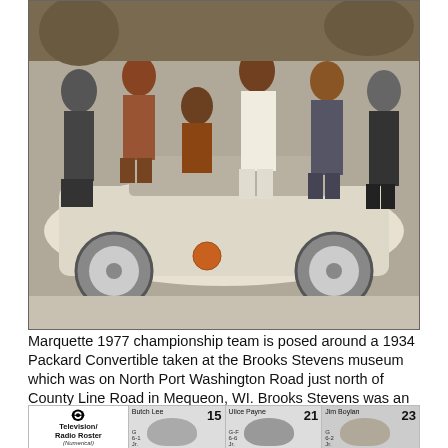[Figure (photo): Group photo of Marquette 1977 championship basketball team posed around a 1934 Packard Convertible classic car, black and white/color photograph taken at Brooks Stevens museum.]
Marquette 1977 championship team is posed around a 1934 Packard Convertible taken at the Brooks Stevens museum which was on North Port Washington Road just north of County Line Road in Mequeon, WI. Brooks Stevens was an industrial designer who designed many forward looking appliances, etc and had a large classic car collection.
Roster
[Figure (photo): Television/Radio Roster (Numerical) card header with Marquette logo, followed by player cards: Butch Lee #15, Ulice Payne #21, Jim Boylan #23, each with headshot photos and position/height/year information.]